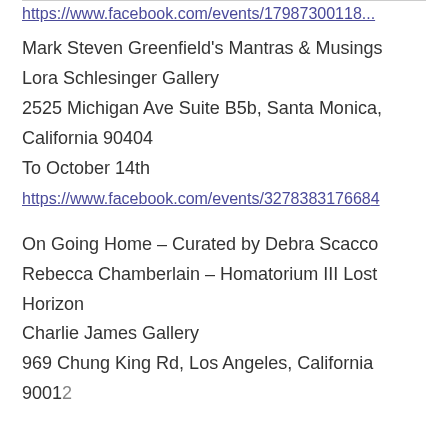https://www.facebook.com/events/17983300118...
Mark Steven Greenfield's Mantras & Musings
Lora Schlesinger Gallery
2525 Michigan Ave Suite B5b, Santa Monica, California 90404
To October 14th
https://www.facebook.com/events/327838317668...
On Going Home – Curated by Debra Scacco
Rebecca Chamberlain – Homatorium III Lost Horizon
Charlie James Gallery
969 Chung King Rd, Los Angeles, California 90012